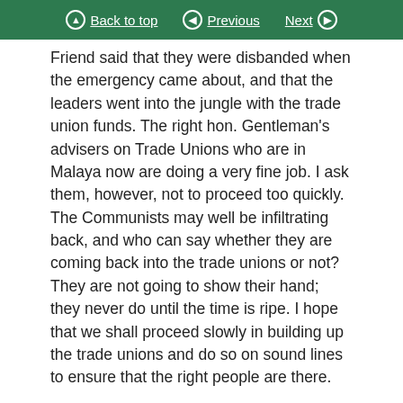Back to top  Previous  Next
Friend said that they were disbanded when the emergency came about, and that the leaders went into the jungle with the trade union funds. The right hon. Gentleman's advisers on Trade Unions who are in Malaya now are doing a very fine job. I ask them, however, not to proceed too quickly. The Communists may well be infiltrating back, and who can say whether they are coming back into the trade unions or not? They are not going to show their hand; they never do until the time is ripe. I hope that we shall proceed slowly in building up the trade unions and do so on sound lines to ensure that the right people are there.
The British Council are spending money in Singapore but not one dollar is being spent in the Federation,